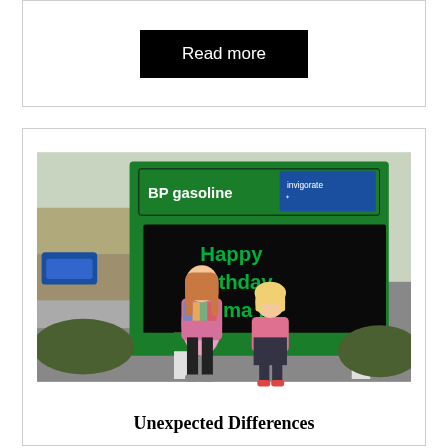Read more
[Figure (photo): Two children standing in front of a BP gasoline sign displaying 'Happy Birthday Emma !!' in green LED letters. The taller child on the left wears a colorful jacket and black pants, the shorter child on the right wears a pink jacket. Background shows a parking lot and trees.]
Unexpected Differences